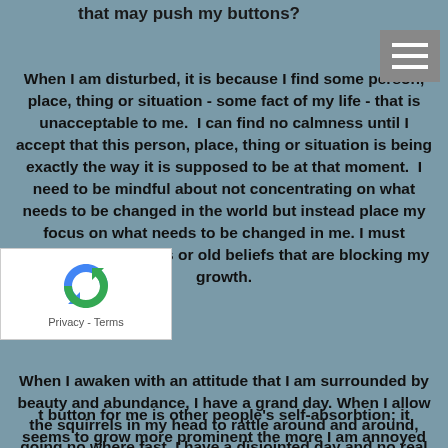that may push my buttons?
When I am disturbed, it is because I find some person, place, thing or situation - some fact of my life - that is unacceptable to me.  I can find no calmness until I accept that this person, place, thing or situation is being exactly the way it is supposed to be at that moment.  I need to be mindful about not concentrating on what needs to be changed in the world but instead place my focus on what needs to be changed in me. I must discard any attitudes or old beliefs that are blocking my growth.
When I awaken with an attitude that I am surrounded by beauty and abundance, I have a grand day. When I allow the squirrels in my head to rattle around and around, going no where fast, I have a disjointed day and no real problems get solved.  Instead, if I focus on the answers the problems, the answers come to me intuitively.
t button for me is other people's self-absorbtion; it seems to grow more prominent the more I am annoyed